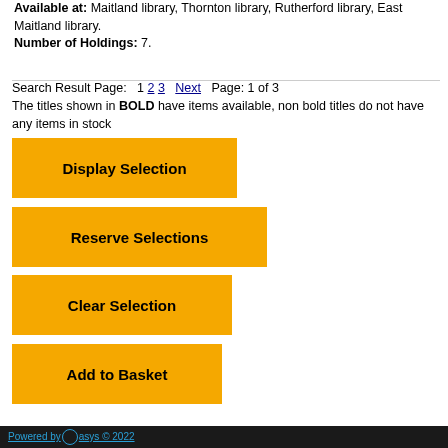Available at: Maitland library, Thornton library, Rutherford library, East Maitland library. Number of Holdings: 7.
Search Result Page: 1 2 3 Next Page: 1 of 3
The titles shown in BOLD have items available, non bold titles do not have any items in stock
[Figure (screenshot): Yellow button labeled Display Selection]
[Figure (screenshot): Yellow button labeled Reserve Selections]
[Figure (screenshot): Yellow button labeled Clear Selection]
[Figure (screenshot): Yellow button labeled Add to Basket]
Powered by Oasys © 2022